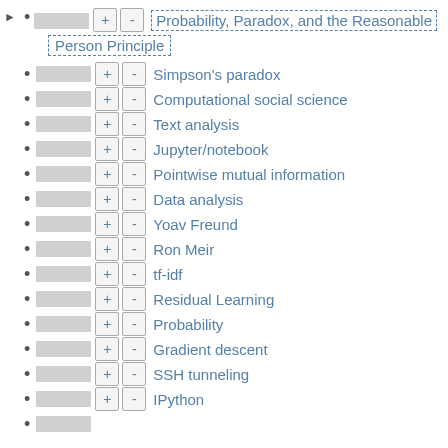Probability, Paradox, and the Reasonable Person Principle
Simpson's paradox
Computational social science
Text analysis
Jupyter/notebook
Pointwise mutual information
Data analysis
Yoav Freund
Ron Meir
tf-idf
Residual Learning
Probability
Gradient descent
SSH tunneling
IPython
Python